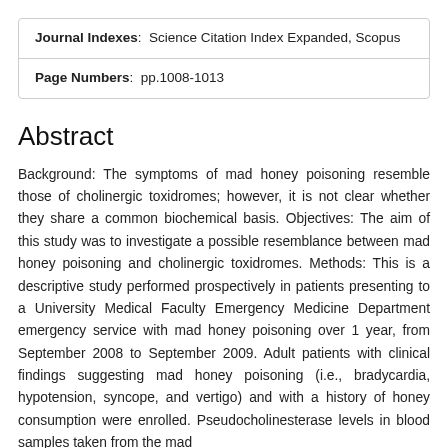| Journal Indexes: Science Citation Index Expanded, Scopus |
| Page Numbers: pp.1008-1013 |
Abstract
Background: The symptoms of mad honey poisoning resemble those of cholinergic toxidromes; however, it is not clear whether they share a common biochemical basis. Objectives: The aim of this study was to investigate a possible resemblance between mad honey poisoning and cholinergic toxidromes. Methods: This is a descriptive study performed prospectively in patients presenting to a University Medical Faculty Emergency Medicine Department emergency service with mad honey poisoning over 1 year, from September 2008 to September 2009. Adult patients with clinical findings suggesting mad honey poisoning (i.e., bradycardia, hypotension, syncope, and vertigo) and with a history of honey consumption were enrolled. Pseudocholinesterase levels in blood samples taken from the mad honey poisoning...